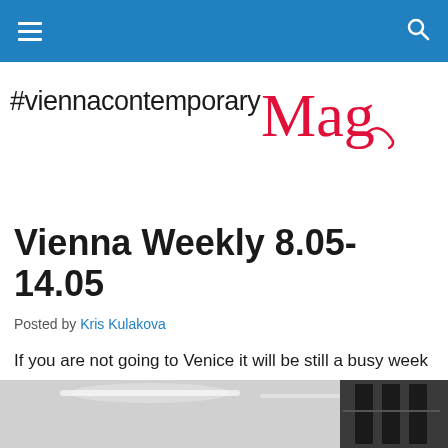Navigation bar with hamburger menu and search icon
#viennacontemporaryMag
Vienna Weekly 8.05-14.05
Posted by Kris Kulakova
If you are not going to Venice it will be still a busy week in Vienna. Here is why:
[Figure (photo): Interior architectural photo showing ceiling with linear lights and dark window frames]